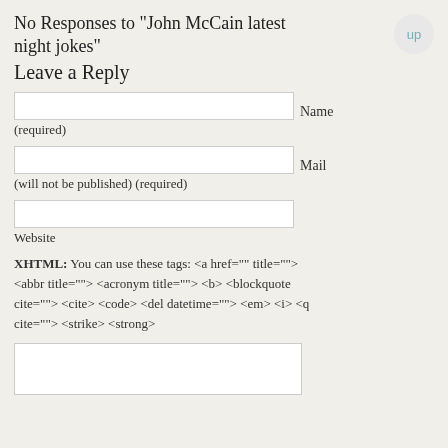No Responses to “John McCain latest night jokes”
Leave a Reply
(required)
(will not be published) (required)
Website
XHTML: You can use these tags: <a href="" title=""> <abbr title=""> <acronym title=""> <b> <blockquote cite=""> <cite> <code> <del datetime=""> <em> <i> <q cite=""> <strike> <strong>